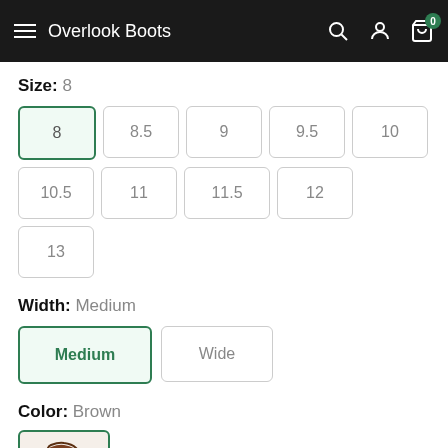Overlook Boots
Size: 8
8 (selected), 8.5, 9, 9.5, 10, 10.5, 11, 11.5, 12, 13
Width: Medium
Medium (selected), Wide
Color: Brown
[Figure (photo): Brown western/cowboy boot thumbnail, selected with green border]
$161.00